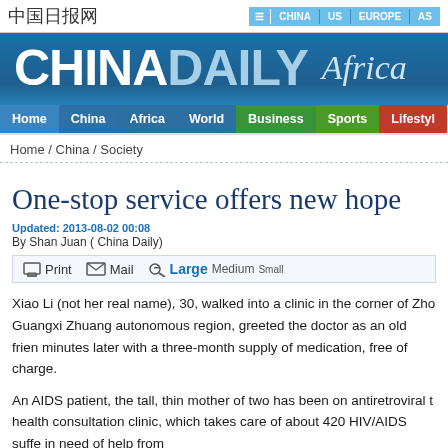中国日报网  |  CHINA  |  US  |  EUROPE  |  AS
[Figure (logo): China Daily Africa masthead logo on blue background]
Home  China  Africa  World  Business  Sports  Lifestyle
Home / China / Society
One-stop service offers new hope
Updated: 2013-08-02 00:08
By Shan Juan ( China Daily)
Print  Mail  Large Medium Small
Xiao Li (not her real name), 30, walked into a clinic in the corner of Zho Guangxi Zhuang autonomous region, greeted the doctor as an old frien minutes later with a three-month supply of medication, free of charge.
An AIDS patient, the tall, thin mother of two has been on antiretroviral t health consultation clinic, which takes care of about 420 HIV/AIDS suffe in need of help from